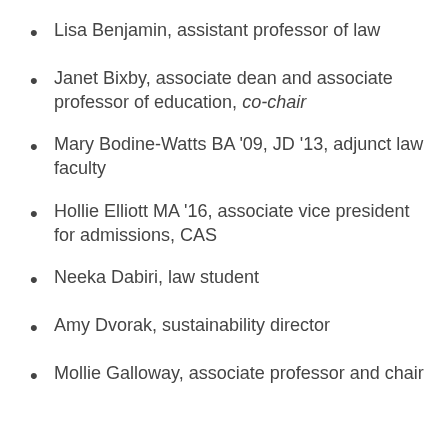Lisa Benjamin, assistant professor of law
Janet Bixby, associate dean and associate professor of education, co-chair
Mary Bodine-Watts BA '09, JD '13, adjunct law faculty
Hollie Elliott MA '16, associate vice president for admissions, CAS
Neeka Dabiri, law student
Amy Dvorak, sustainability director
Mollie Galloway, associate professor and chair